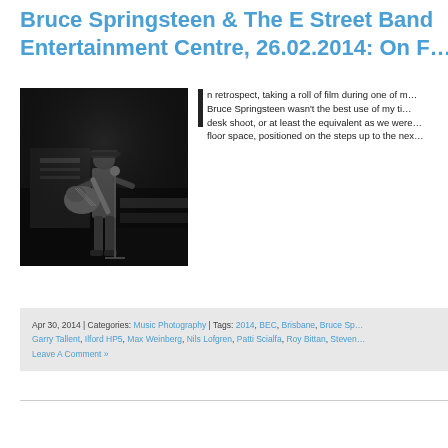Bruce Springsteen & The E Street Band Entertainment Centre, 26.02.2014: On F…
[Figure (photo): Black and white photo of Bruce Springsteen playing electric guitar on stage]
In retrospect, taking a roll of film during one of m… Bruce Springsteen wasn't the best use of my ti… desk shoot, or at least the equivalent as we were… floor space, positioned on the steps up to the nex…
Apr 30, 2014 | Categories: Music Photography | Tags: 2014, BEC, Brisbane, Bruce Sp… Garry Tallent, Ilford HP5, Max Weinberg, Nils Lofgren, Patti Scialfa, Roy Bittan, Steven… Leave A Comment »